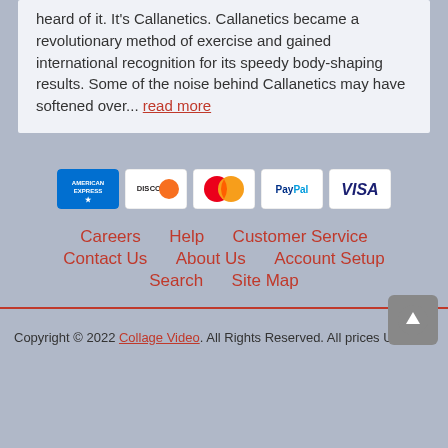heard of it. It's Callanetics. Callanetics became a revolutionary method of exercise and gained international recognition for its speedy body-shaping results. Some of the noise behind Callanetics may have softened over... read more
[Figure (infographic): Payment method icons: American Express, Discover, Mastercard, PayPal, Visa]
Careers  Help  Customer Service  Contact Us  About Us  Account Setup  Search  Site Map
Copyright © 2022 Collage Video. All Rights Reserved. All prices USD.